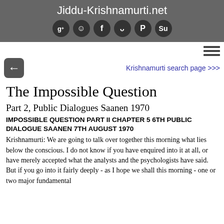Jiddu-Krishnamurti.net
The Impossible Question
Part 2, Public Dialogues Saanen 1970
IMPOSSIBLE QUESTION PART II CHAPTER 5 6TH PUBLIC DIALOGUE SAANEN 7TH AUGUST 1970
Krishnamurti: We are going to talk over together this morning what lies below the conscious. I do not know if you have enquired into it at all, or have merely accepted what the analysts and the psychologists have said. But if you go into it fairly deeply - as I hope we shall this morning - one or two major fundamental